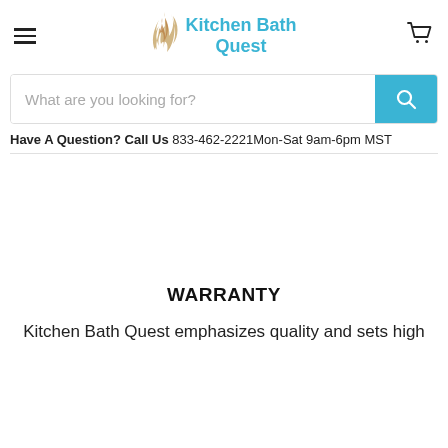Kitchen Bath Quest
What are you looking for?
Have A Question? Call Us 833-462-2221Mon-Sat 9am-6pm MST
WARRANTY
Kitchen Bath Quest emphasizes quality and sets high